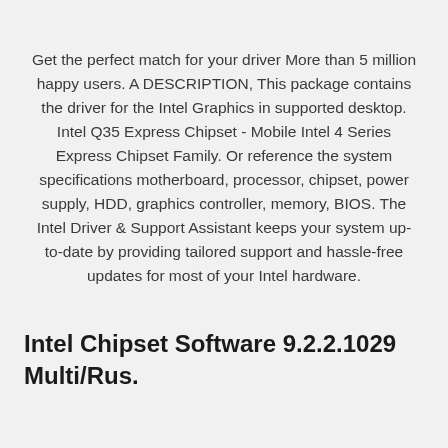Get the perfect match for your driver More than 5 million happy users. A DESCRIPTION, This package contains the driver for the Intel Graphics in supported desktop. Intel Q35 Express Chipset - Mobile Intel 4 Series Express Chipset Family. Or reference the system specifications motherboard, processor, chipset, power supply, HDD, graphics controller, memory, BIOS. The Intel Driver & Support Assistant keeps your system up-to-date by providing tailored support and hassle-free updates for most of your Intel hardware.
Intel Chipset Software 9.2.2.1029 Multi/Rus.